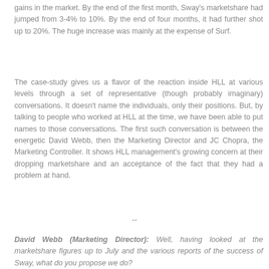gains in the market. By the end of the first month, Sway's marketshare had jumped from 3-4% to 10%. By the end of four months, it had further shot up to 20%. The huge increase was mainly at the expense of Surf.
The case-study gives us a flavor of the reaction inside HLL at various levels through a set of representative (though probably imaginary) conversations. It doesn't name the individuals, only their positions. But, by talking to people who worked at HLL at the time, we have been able to put names to those conversations. The first such conversation is between the energetic David Webb, then the Marketing Director and JC Chopra, the Marketing Controller. It shows HLL management's growing concern at their dropping marketshare and an acceptance of the fact that they had a problem at hand.
--
David Webb (Marketing Director): Well, having looked at the marketshare figures up to July and the various reports of the success of Sway, what do you propose we do?